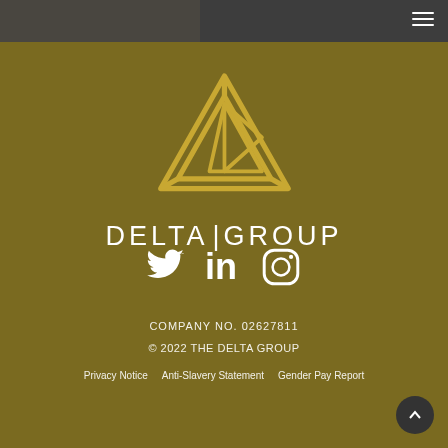[Figure (photo): Dark photo header strip across top of page]
[Figure (logo): Delta Group logo - golden geometric impossible triangle above white 'DELTA | GROUP' text]
[Figure (infographic): Social media icons: Twitter bird, LinkedIn 'in', Instagram camera circle - all white]
COMPANY NO. 02627811
© 2022 THE DELTA GROUP
Privacy Notice   Anti-Slavery Statement   Gender Pay Report